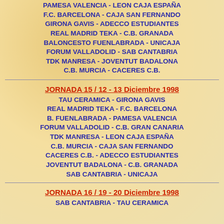PAMESA VALENCIA - LEON CAJA ESPAÑA
F.C. BARCELONA - CAJA SAN FERNANDO
GIRONA GAVIS - ADECCO ESTUDIANTES
REAL MADRID TEKA - C.B. GRANADA
BALONCESTO FUENLABRADA - UNICAJA
FORUM VALLADOLID - SAB CANTABRIA
TDK MANRESA - JOVENTUT BADALONA
C.B. MURCIA - CACERES C.B.
JORNADA 15 / 12 - 13 Diciembre 1998
TAU CERAMICA - GIRONA GAVIS
REAL MADRID TEKA - F.C. BARCELONA
B. FUENLABRADA - PAMESA VALENCIA
FORUM VALLADOLID - C.B. GRAN CANARIA
TDK MANRESA - LEON CAJA ESPAÑA
C.B. MURCIA - CAJA SAN FERNANDO
CACERES C.B. - ADECCO ESTUDIANTES
JOVENTUT BADALONA - C.B. GRANADA
SAB CANTABRIA - UNICAJA
JORNADA 16 / 19 - 20 Diciembre 1998
SAB CANTABRIA - TAU CERAMICA